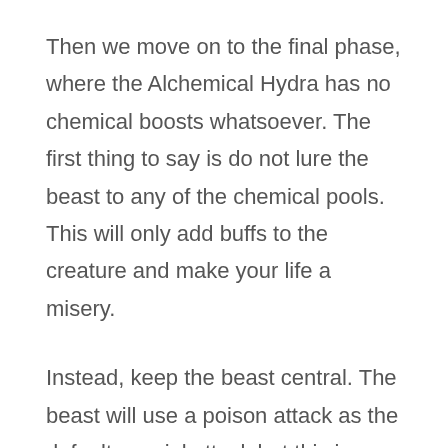Then we move on to the final phase, where the Alchemical Hydra has no chemical boosts whatsoever. The first thing to say is do not lure the beast to any of the chemical pools. This will only add buffs to the creature and make your life a misery.
Instead, keep the beast central. The beast will use a poison attack as the default special attack but this is easily evaded. The real issue with this last phase is that the attack types change after every attack instead of three.
So you will need to focus on flicking your prayers as